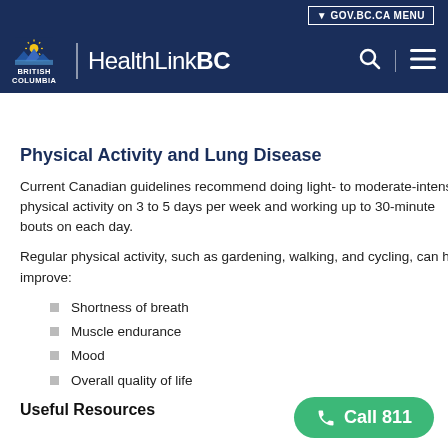GOV.BC.CA MENU | HealthLinkBC
Physical Activity and Lung Disease
Current Canadian guidelines recommend doing light- to moderate-intensity physical activity on 3 to 5 days per week and working up to 30-minute bouts on each day.
Regular physical activity, such as gardening, walking, and cycling, can help improve:
Shortness of breath
Muscle endurance
Mood
Overall quality of life
Useful Resources
Call 811